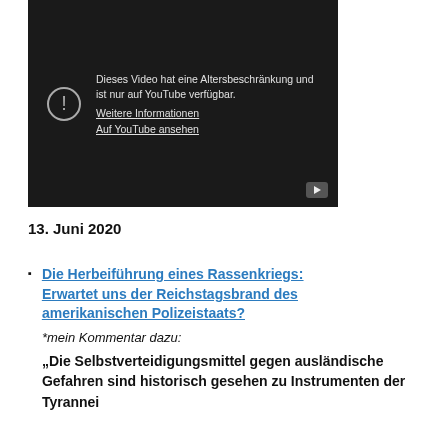[Figure (screenshot): YouTube video thumbnail showing age restriction message in German: 'Dieses Video hat eine Altersbeschränkung und ist nur auf YouTube verfügbar. Weitere Informationen / Auf YouTube ansehen' with exclamation icon and play button.]
13. Juni 2020
Die Herbeiführung eines Rassenkriegs: Erwartet uns der Reichstagsbrand des amerikanischen Polizeistaats? *mein Kommentar dazu: „Die Selbstverteidigungsmittel gegen ausländische Gefahren sind historisch gesehen zu Instrumenten der Tyrannei